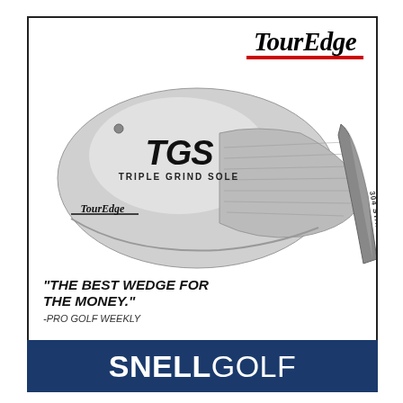[Figure (photo): Tour Edge TGS Triple Grind Sole golf wedge advertisement. Shows a silver/chrome golf wedge with 'TGS TRIPLE GRIND SOLE' and 'TourEdge' text on the club head. The shaft reads '304 STAINLESS'. Tour Edge logo with red underline appears at top right. Quote reads: "THE BEST WEDGE FOR THE MONEY." -PRO GOLF WEEKLY. All inside a black-bordered box.]
[Figure (logo): SNELL GOLF logo in white text on a dark navy/blue rectangular banner. 'SNELL' is bold weight, 'GOLF' is regular weight.]